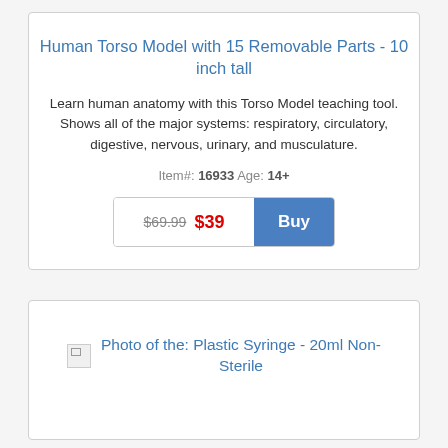Human Torso Model with 15 Removable Parts - 10 inch tall
Learn human anatomy with this Torso Model teaching tool. Shows all of the major systems: respiratory, circulatory, digestive, nervous, urinary, and musculature.
Item#: 16933 Age: 14+
$69.99 $39 Buy
[Figure (photo): Photo of the: Plastic Syringe - 20ml Non-Sterile]